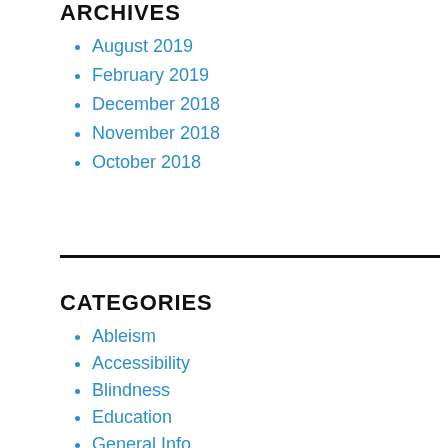ARCHIVES
August 2019
February 2019
December 2018
November 2018
October 2018
CATEGORIES
Ableism
Accessibility
Blindness
Education
General Info